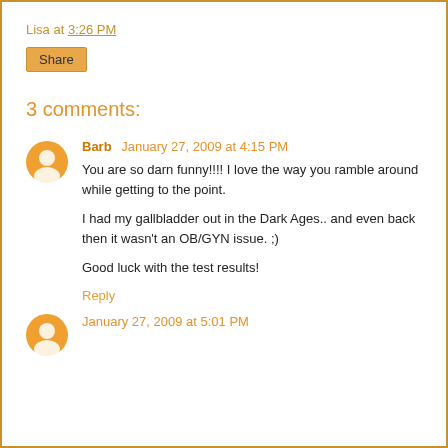Lisa at 3:26 PM
Share
3 comments:
Barb January 27, 2009 at 4:15 PM
You are so darn funny!!!! I love the way you ramble around while getting to the point.

I had my gallbladder out in the Dark Ages.. and even back then it wasn't an OB/GYN issue. ;)

Good luck with the test results!
Reply